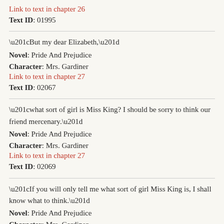Link to text in chapter 26
Text ID: 01995
“But my dear Elizabeth,”
Novel: Pride And Prejudice
Character: Mrs. Gardiner
Link to text in chapter 27
Text ID: 02067
“what sort of girl is Miss King? I should be sorry to think our friend mercenary.”
Novel: Pride And Prejudice
Character: Mrs. Gardiner
Link to text in chapter 27
Text ID: 02069
“If you will only tell me what sort of girl Miss King is, I shall know what to think.”
Novel: Pride And Prejudice
Character: Mrs. Gardiner
Link to text in chapter 27